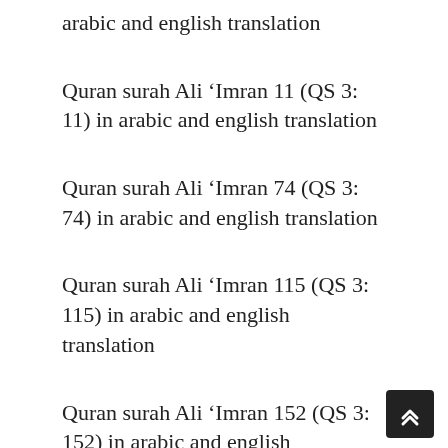arabic and english translation
Quran surah Ali ‘Imran 11 (QS 3: 11) in arabic and english translation
Quran surah Ali ‘Imran 74 (QS 3: 74) in arabic and english translation
Quran surah Ali ‘Imran 115 (QS 3: 115) in arabic and english translation
Quran surah Ali ‘Imran 152 (QS 3: 152) in arabic and english translation
Quran surah Ali ‘Imran 134 (QS 3: 134) in